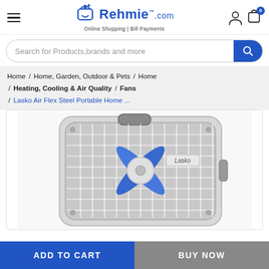[Figure (logo): Rehmie.com logo with shopping cart icon and tagline 'Online Shopping | Bill Payments']
Search for Products,brands and more
Home / Home, Garden, Outdoor & Pets / Home / Heating, Cooling & Air Quality / Fans / Lasko Air Flex Steel Portable Home ...
[Figure (photo): Lasko Air Flex Steel Portable Home Fan product image showing a white box fan with blue fan blades and a handle on top, with 'Lasko' label visible]
ADD TO CART
BUY NOW